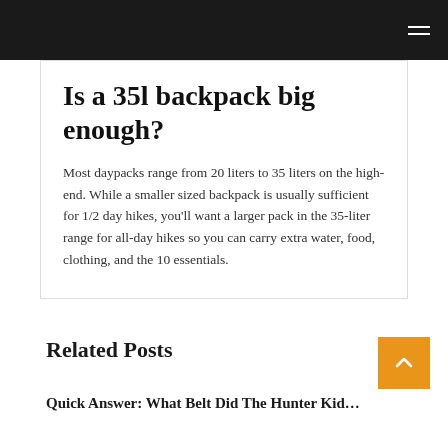Is a 35l backpack big enough?
Most daypacks range from 20 liters to 35 liters on the high-end. While a smaller sized backpack is usually sufficient for 1/2 day hikes, you'll want a larger pack in the 35-liter range for all-day hikes so you can carry extra water, food, clothing, and the 10 essentials.
Related Posts
Quick Answer: What Belt Did The Hunter Kid…